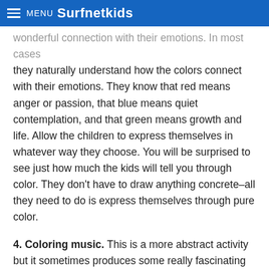MENU Surfnetkids
wonderful connection with their emotions. In most cases they naturally understand how the colors connect with their emotions. They know that red means anger or passion, that blue means quiet contemplation, and that green means growth and life. Allow the children to express themselves in whatever way they choose. You will be surprised to see just how much the kids will tell you through color. They don't have to draw anything concrete–all they need to do is express themselves through pure color.
4. Coloring music. This is a more abstract activity but it sometimes produces some really fascinating results. Put on a piece of music and have the children listen to it for a few minutes. It would probably be best if the music does not have any lyrics–something classical might be best.